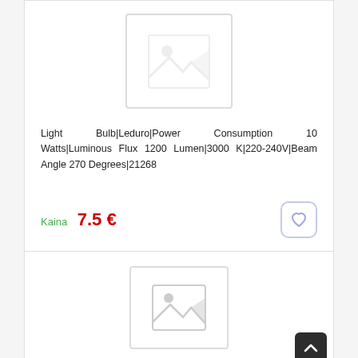[Figure (photo): Placeholder image for product - light bulb, no image available]
Light Bulb|Leduro|Power Consumption 10 Watts|Luminous Flux 1200 Lumen|3000 K|220-240V|Beam Angle 270 Degrees|21268
Kaina  7.5 €
[Figure (photo): Placeholder image for second product - no image available]